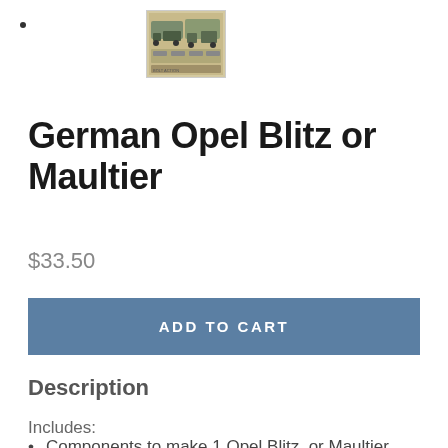[Figure (photo): Small thumbnail image of German Opel Blitz or Maultier model kit box art showing military trucks]
German Opel Blitz or Maultier
$33.50
ADD TO CART
Description
Includes:
Components to make 1 Opel Blitz, or Maultier